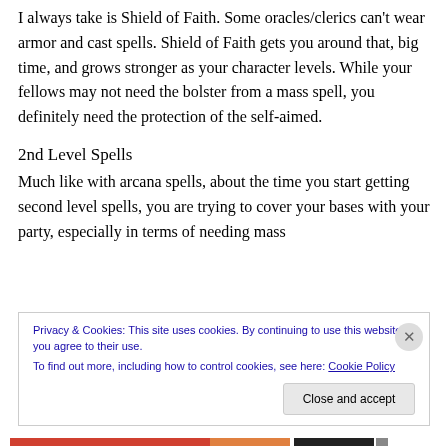I always take is Shield of Faith. Some oracles/clerics can't wear armor and cast spells. Shield of Faith gets you around that, big time, and grows stronger as your character levels. While your fellows may not need the bolster from a mass spell, you definitely need the protection of the self-aimed.
2nd Level Spells
Much like with arcana spells, about the time you start getting second level spells, you are trying to cover your bases with your party, especially in terms of needing mass
Privacy & Cookies: This site uses cookies. By continuing to use this website, you agree to their use.
To find out more, including how to control cookies, see here: Cookie Policy
Close and accept